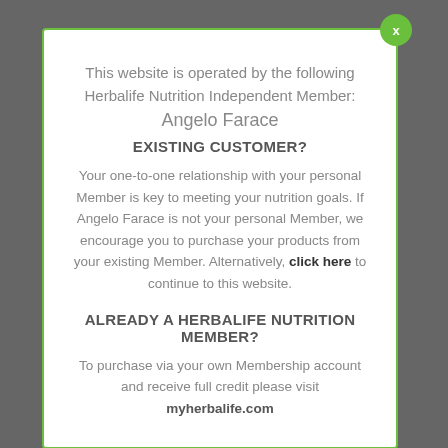This website is operated by the following Herbalife Nutrition Independent Member: Angelo Farace
EXISTING CUSTOMER?
Your one-to-one relationship with your personal Member is key to meeting your nutrition goals. If Angelo Farace is not your personal Member, we encourage you to purchase your products from your existing Member. Alternatively, click here to continue to this website.
ALREADY A HERBALIFE NUTRITION MEMBER?
To purchase via your own Membership account and receive full credit please visit myherbalife.com